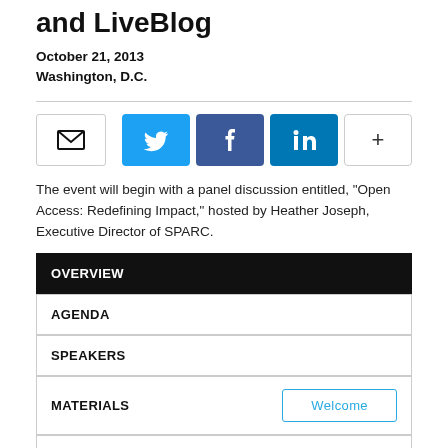and LiveBlog
October 21, 2013
Washington, D.C.
[Figure (infographic): Social share buttons row: email icon button, Twitter bird icon button, Facebook f icon button, LinkedIn in icon button, and a + button]
The event will begin with a panel discussion entitled, “Open Access: Redefining Impact,” hosted by Heather Joseph, Executive Director of SPARC.
OVERVIEW
AGENDA
SPEAKERS
MATERIALS
Welcome